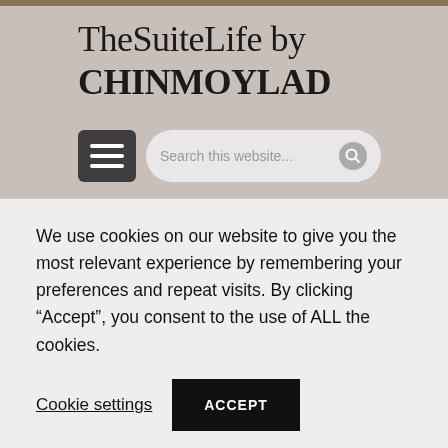TheSuiteLife by CHINMOYLAD
[Figure (screenshot): Hamburger menu button (dark grey rounded rectangle with three white horizontal lines)]
Search this website...
Raffles Grand Hotel D'Angkor, Siem Reap
We use cookies on our website to give you the most relevant experience by remembering your preferences and repeat visits. By clicking “Accept”, you consent to the use of ALL the cookies.
Cookie settings
ACCEPT